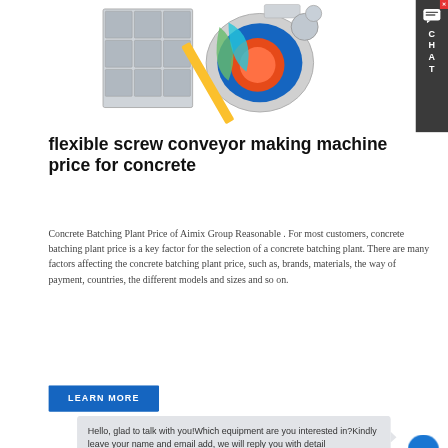[Figure (photo): Industrial concrete batching plant / crusher machine component with colorful internal parts visible, rendered in 3D, showing metal box-like structure with multi-colored internal mechanisms.]
flexible screw conveyor making machine price for concrete
Concrete Batching Plant Price of Aimix Group Reasonable . For most customers, concrete batching plant price is a key factor for the selection of a concrete batching plant. There are many factors affecting the concrete batching plant price, such as, brands, materials, the way of payment, countries, the different models and sizes and so on.
LEARN MORE
Hello, glad to talk with you!Which equipment are you interested in?Kindly leave your name and email add, we will reply you with detail